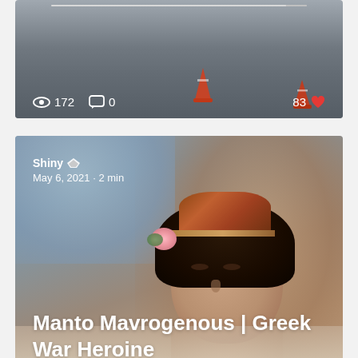[Figure (screenshot): Top card: road/street scene with orange traffic cones. Shows stats bar with eye icon (172 views), comment icon (0 comments), and heart icon (83 likes).]
[Figure (photo): Middle card: Portrait painting of Manto Mavrogenous, a woman wearing a patterned hat and flower in her dark hair, against a blue-grey background. Overlaid text shows author 'Shiny' with crown badge, date 'May 6, 2021 · 2 min', article title 'Manto Mavrogenous | Greek War Heroine', and stats: 172 views, 0 comments, 62 likes.]
[Figure (photo): Bottom card (partial): Another article card showing 'Shiny' author label with crown badge, partially visible artwork.]